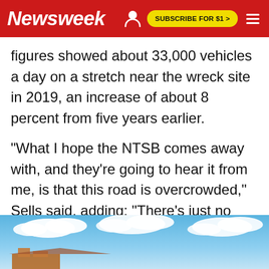Newsweek | SUBSCRIBE FOR $1 >
figures showed about 33,000 vehicles a day on a stretch near the wreck site in 2019, an increase of about 8 percent from five years earlier.
"What I hope the NTSB comes away with, and they're going to hear it from me, is that this road is overcrowded," Sells said, adding: "There's just no room for error out there now."
[Figure (photo): Bottom portion of page showing a sky with clouds and partial view of a building or structure, partially cropped]